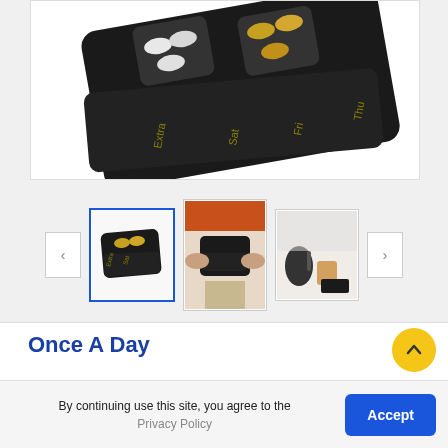[Figure (photo): Close-up product photo of a black weekly pill organizer case open, showing compartments labeled Extra, Sat, Fri, Thu with pills inside (white and yellow/gold colored capsules)]
[Figure (photo): Thumbnail 1: Small image of the closed black pill organizer case]
[Figure (photo): Thumbnail 2: Person holding the black pill organizer in their hands, viewed from above]
[Figure (photo): Thumbnail 3: Black pill organizer shown on a table alongside a coffee kettle and cup]
Once A Day
By continuing use this site, you agree to the Privacy Policy